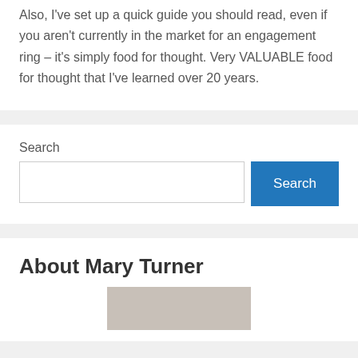Also, I've set up a quick guide you should read, even if you aren't currently in the market for an engagement ring – it's simply food for thought.  Very VALUABLE food for thought that I've learned over 20 years.
Search
About Mary Turner